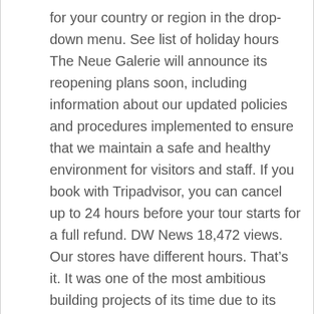for your country or region in the drop-down menu. See list of holiday hours The Neue Galerie will announce its reopening plans soon, including information about our updated policies and procedures implemented to ensure that we maintain a safe and healthy environment for visitors and staff. If you book with Tripadvisor, you can cancel up to 24 hours before your tour starts for a full refund. DW News 18,472 views. Our stores have different hours. That's it. It was one of the most ambitious building projects of its time due to its use of new industrial construction technologies such as the steam engine. Hoffmann Salad Set $88.00. INFO: Neue Galerie | 1048 Fifth Ave. (entrance on 86th Street) | New York, NY 10028 | 212.628.6200 ADMISSION: $20 TOUR: Free with admission, free audio guide with admission Thursday through Monday, 11 a.m. to 6 p.m. Closed